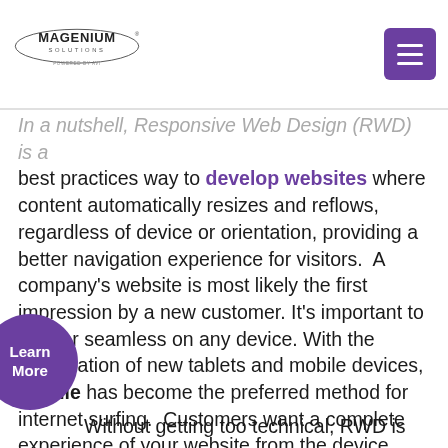Magenium Solutions — Powered by AVI
In a nutshell, Responsive Web Design (RWD) is a best practices way to develop websites where content automatically resizes and reflows, regardless of device or orientation, providing a better navigation experience for visitors.  A company's website is most likely the first impression by a new customer. It's important to appear seamless on any device. With the proliferation of new tablets and mobile devices, mobile has become the preferred method for internet surfing.  Customers want a complete experience of your website from the device they have chosen.  Unhappy visitors will quickly leave a site if they're unable to view a full website easily.
Without getting too technical, RWD is